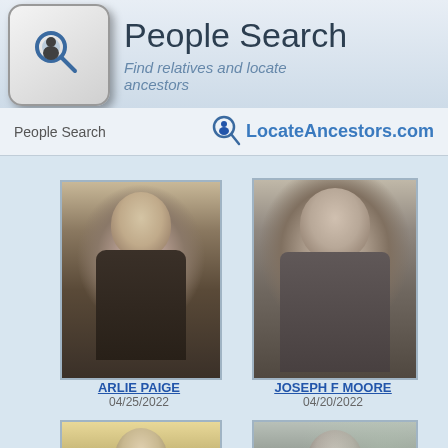People Search
Find relatives and locate ancestors
People Search
LocateAncestors.com
[Figure (photo): Portrait photo of Arlie Paige, older man in suit with glasses, black and white sepia photo]
ARLIE PAIGE
04/25/2022
[Figure (photo): Portrait photo of Joseph F Moore, older heavyset man in striped jacket, black and white photo]
JOSEPH F MOORE
04/20/2022
[Figure (photo): Portrait photo of young man in military uniform, sepia toned photo]
[Figure (photo): Portrait photo of young man in suit, black and white photo outdoors]